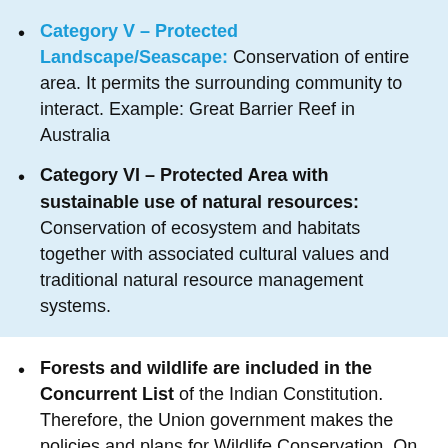Category V – Protected Landscape/Seascape: Conservation of entire area. It permits the surrounding community to interact. Example: Great Barrier Reef in Australia
Category VI – Protected Area with sustainable use of natural resources: Conservation of ecosystem and habitats together with associated cultural values and traditional natural resource management systems.
Forests and wildlife are included in the Concurrent List of the Indian Constitution. Therefore, the Union government makes the policies and plans for Wildlife Conservation. On the other hand, the State Forest Departments